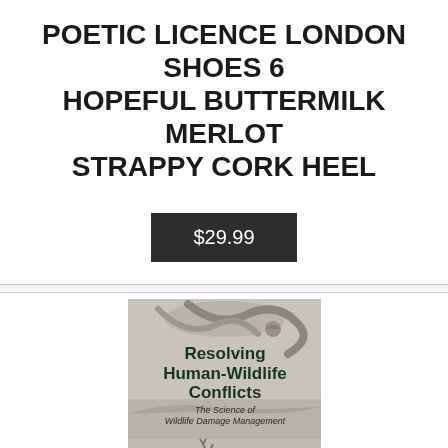POETIC LICENCE LONDON SHOES 6 HOPEFUL BUTTERMILK MERLOT STRAPPY CORK HEEL
$29.99
[Figure (photo): Book cover of 'Resolving Human-Wildlife Conflicts: The Science of Wildlife Damage Management' by Michael Conover, published by Lewis Publishers/CRC Press. Cover shows wildlife imagery including deer and birds in black and white, with green and dark text.]